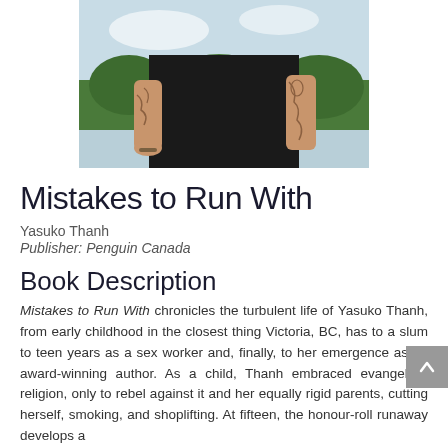[Figure (photo): Photo of a person wearing a black t-shirt with tattoos on both arms, outdoors with trees and sky in background, cropped to show torso/arms only]
Mistakes to Run With
Yasuko Thanh
Publisher: Penguin Canada
Book Description
Mistakes to Run With chronicles the turbulent life of Yasuko Thanh, from early childhood in the closest thing Victoria, BC, has to a slum to teen years as a sex worker and, finally, to her emergence as an award-winning author. As a child, Thanh embraced evangelical religion, only to rebel against it and her equally rigid parents, cutting herself, smoking, and shoplifting. At fifteen, the honour-roll runaway develops a